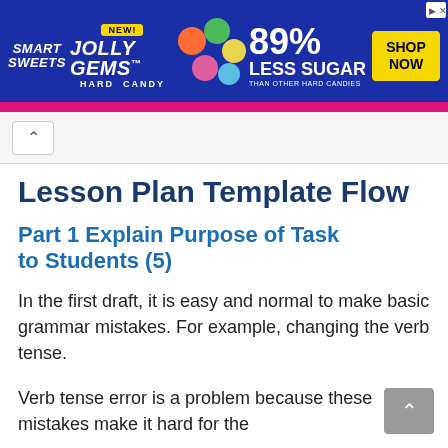[Figure (other): SmartSweets Jolly Gems Hard Candy advertisement banner. Blue background with colorful candy imagery. Text reads '89% LESS SUGAR THAN OTHER HARD CANDIES' with a yellow 'SHOP NOW' button. 'NEW!' badge visible.]
Lesson Plan Template Flow
Part 1 Explain Purpose of Task to Students (5)
In the first draft, it is easy and normal to make basic grammar mistakes. For example, changing the verb tense.
Verb tense error is a problem because these mistakes make it hard for the